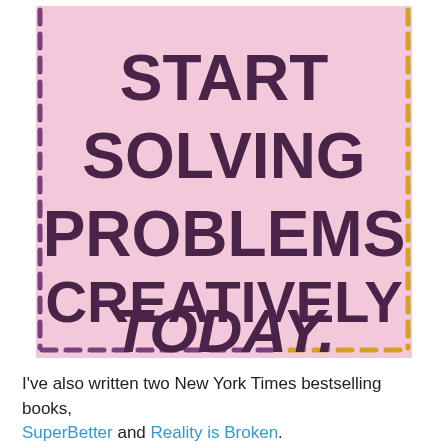[Figure (illustration): Pink/lavender background card with dashed purple border on the left side and dashed orange/gold border on the right side, containing large bold text reading 'START SOLVING PROBLEMS CREATIVELY TODAY.' with TODAY in italic style.]
I've also written two New York Times bestselling books, SuperBetter and Reality is Broken.